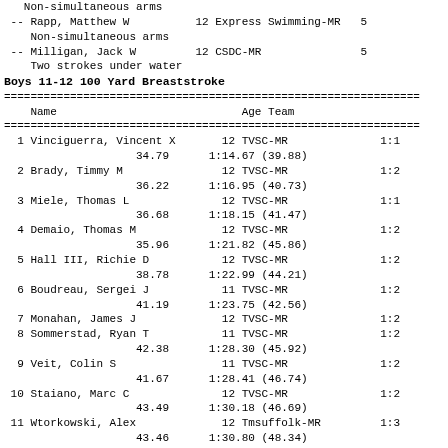Non-simultaneous arms
 -- Rapp, Matthew W          12 Express Swimming-MR   5
    Non-simultaneous arms
 -- Milligan, Jack W         12 CSDC-MR                5
    Two strokes under water
Boys 11-12 100 Yard Breaststroke
| Name | Age | Team | Finals |
| --- | --- | --- | --- |
| 1 Vinciguerra, Vincent X | 12 | TVSC-MR | 1:1 |
| 34.79 |  | 1:14.67 (39.88) |  |
| 2 Brady, Timmy M | 12 | TVSC-MR | 1:2 |
| 36.22 |  | 1:16.95 (40.73) |  |
| 3 Miele, Thomas L | 12 | TVSC-MR | 1:1 |
| 36.68 |  | 1:18.15 (41.47) |  |
| 4 Demaio, Thomas M | 12 | TVSC-MR | 1:2 |
| 35.96 |  | 1:21.82 (45.86) |  |
| 5 Hall III, Richie D | 12 | TVSC-MR | 1:2 |
| 38.78 |  | 1:22.99 (44.21) |  |
| 6 Boudreau, Sergei J | 11 | TVSC-MR | 1:2 |
| 41.19 |  | 1:23.75 (42.56) |  |
| 7 Monahan, James J | 12 | TVSC-MR | 1:2 |
| 8 Sommerstad, Ryan T | 11 | TVSC-MR | 1:2 |
| 42.38 |  | 1:28.30 (45.92) |  |
| 9 Veit, Colin S | 11 | TVSC-MR | 1:2 |
| 41.67 |  | 1:28.41 (46.74) |  |
| 10 Staiano, Marc C | 12 | TVSC-MR | 1:2 |
| 43.49 |  | 1:30.18 (46.69) |  |
| 11 Wtorkowski, Alex | 12 | Tmsuffolk-MR | 1:3 |
| 43.46 |  | 1:30.80 (48.34) |  |